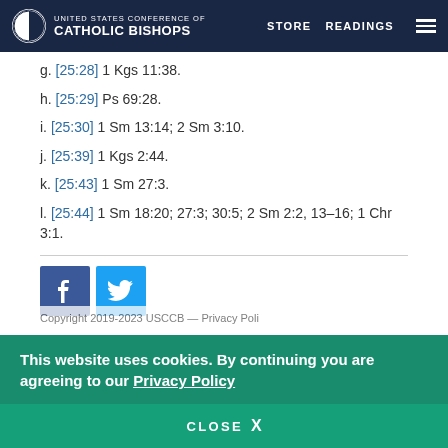United States Conference of Catholic Bishops — STORE | READINGS
g. [25:28] 1 Kgs 11:38.
h. [25:29] Ps 69:28.
i. [25:30] 1 Sm 13:14; 2 Sm 3:10.
j. [25:39] 1 Kgs 2:44.
k. [25:43] 1 Sm 27:3.
l. [25:44] 1 Sm 18:20; 27:3; 30:5; 2 Sm 2:2, 13–16; 1 Chr 3:1.
[Figure (other): Facebook and Twitter social sharing buttons]
Copyright 2019-2023 USCCB — Privacy Policy
This website uses cookies. By continuing you are agreeing to our Privacy Policy
CLOSE X